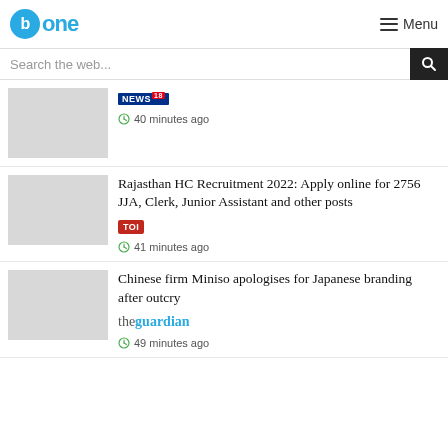Bone - Menu
Search the web...
40 minutes ago - NEWS18
Rajasthan HC Recruitment 2022: Apply online for 2756 JJA, Clerk, Junior Assistant and other posts - TOI - 41 minutes ago
Chinese firm Miniso apologises for Japanese branding after outcry - theguardian - 49 minutes ago